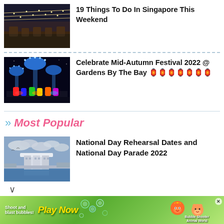[Figure (photo): Outdoor dining area at night with string lights overhead and people seated at tables]
19 Things To Do In Singapore This Weekend
[Figure (photo): Gardens by the Bay Supertrees at night with colorful light show and costumed characters on stage]
Celebrate Mid-Autumn Festival 2022 @ Gardens By The Bay 🏮🏮🏮🏮🏮🏮🏮
Most Popular
[Figure (photo): Marina Bay Sands and Singapore skyline with cloudy sky taken from across the water]
National Day Rehearsal Dates and National Day Parade 2022
[Figure (infographic): Advertisement banner: Shoot and blast bubbles! Play Now - Bubble Shooter Animal World game]